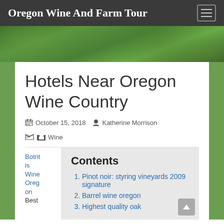Oregon Wine And Farm Tour
[Figure (photo): Green grape leaves hero image background]
Hotels Near Oregon Wine Country
October 15, 2018   Katherine Morrison   Wine
Botritis Wine Oregon Best
Contents
Pinot noir: styring vineyards 2009 signature
Barrel wine oregon
Highest quality oak